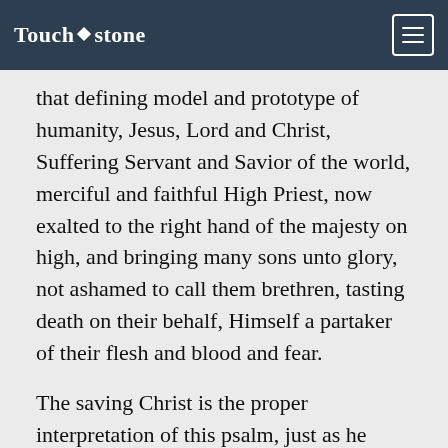Touchstone
that defining model and prototype of humanity, Jesus, Lord and Christ, Suffering Servant and Savior of the world, merciful and faithful High Priest, now exalted to the right hand of the majesty on high, and bringing many sons unto glory, not ashamed to call them brethren, tasting death on their behalf, Himself a partaker of their flesh and blood and fear.
The saving Christ is the proper interpretation of this psalm, just as he